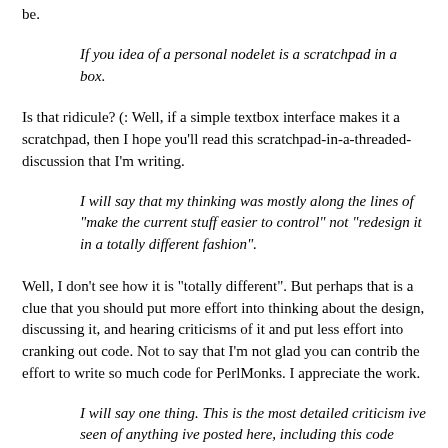be.
If you idea of a personal nodelet is a scratchpad in a box.
Is that ridicule? (: Well, if a simple textbox interface makes it a scratchpad, then I hope you'll read this scratchpad-in-a-threaded-discussion that I'm writing.
I will say that my thinking was mostly along the lines of "make the current stuff easier to control" not "redesign it in a totally different fashion".
Well, I don't see how it is "totally different". But perhaps that is a clue that you should put more effort into thinking about the design, discussing it, and hearing criticisms of it and put less effort into cranking out code. Not to say that I'm not glad you can contrib the effort to write so much code for PerlMonks. I appreciate the work.
I will say one thing. This is the most detailed criticism ive seen of anything ive posted here, including this code about 4 months ago. So i dont feel too bad about it not fitting your exact (unsupplied) specification.
Well, I'm sure I've said "just a textbox" to you before. And I don't